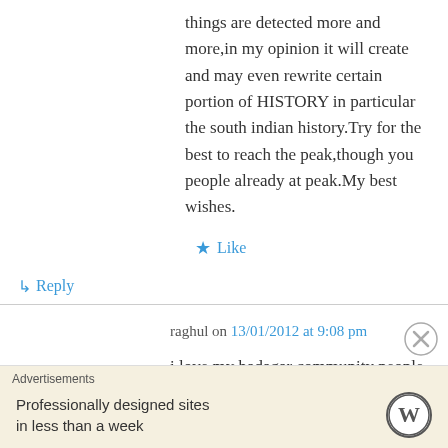things are detected more and more,in my opinion it will create and may even rewrite certain portion of HISTORY in particular the south indian history.Try for the best to reach the peak,though you people already at peak.My best wishes.
★ Like
↳ Reply
raghul on 13/01/2012 at 9:08 pm
i love my badagar community people ………
Advertisements
Professionally designed sites in less than a week